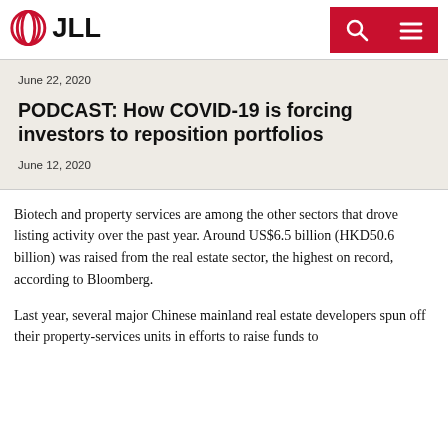JLL
June 22, 2020
PODCAST: How COVID-19 is forcing investors to reposition portfolios
June 12, 2020
Biotech and property services are among the other sectors that drove listing activity over the past year. Around US$6.5 billion (HKD50.6 billion) was raised from the real estate sector, the highest on record, according to Bloomberg.
Last year, several major Chinese mainland real estate developers spun off their property-services units in efforts to raise funds to